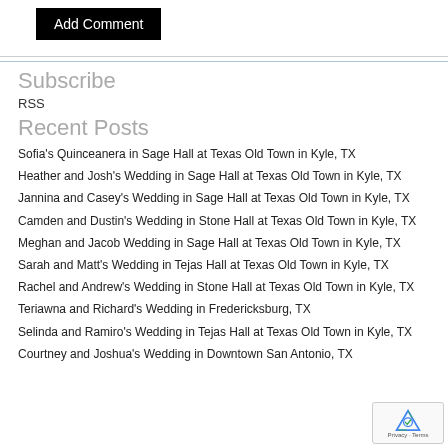Add Comment
Subscribe
RSS
Recent Posts
Sofia's Quinceanera in Sage Hall at Texas Old Town in Kyle, TX
Heather and Josh's Wedding in Sage Hall at Texas Old Town in Kyle, TX
Jannina and Casey's Wedding in Sage Hall at Texas Old Town in Kyle, TX
Camden and Dustin's Wedding in Stone Hall at Texas Old Town in Kyle, TX
Meghan and Jacob Wedding in Sage Hall at Texas Old Town in Kyle, TX
Sarah and Matt's Wedding in Tejas Hall at Texas Old Town in Kyle, TX
Rachel and Andrew's Wedding in Stone Hall at Texas Old Town in Kyle, TX
Teriawna and Richard's Wedding in Fredericksburg, TX
Selinda and Ramiro's Wedding in Tejas Hall at Texas Old Town in Kyle, TX
Courtney and Joshua's Wedding in Downtown San Antonio, TX